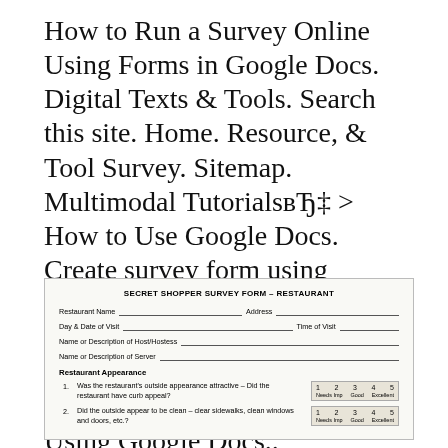How to Run a Survey Online Using Forms in Google Docs. Digital Texts & Tools. Search this site. Home. Resource, & Tool Survey. Sitemap. Multimodal TutorialsвЂ‡ > How to Use Google Docs. Create survey form using Google Docs to Conduct a survey. this quite helpful to get feedback from your blog visitors How To Conduct Online Survey Using Google Docs..
[Figure (other): Secret Shopper Survey Form – Restaurant. A printed survey form with fields for Restaurant Name, Address, Day & Date of Visit, Time of Visit, Name or Description of Host/Hostess, Name or Description of Server. Section: Restaurant Appearance with questions: 1. Was the restaurant's outside appearance attractive – Did the restaurant have curb appeal? (rating 1-5, Needs Imp to Excellent) 2. Did the outside appear to be clean – clear sidewalks, clean windows and doors, etc.? (rating 1-5, Needs Imp to Excellent)]